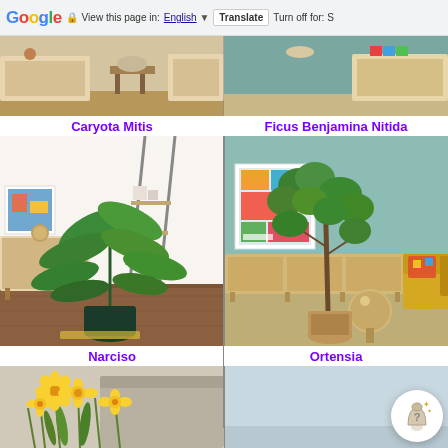Google | View this page in: English | Translate | Turn off for: S
[Figure (photo): Top banner showing two interior room scenes with wooden furniture on left (warm tones) and right (teal/blue-green wall) backgrounds]
Caryota Mitis
Ficus Benjamina Nitida
[Figure (photo): Caryota Mitis plant in a dark green pot on a wooden floor in a modern living room with rattan furniture]
[Figure (photo): Ficus Benjamina Nitida plant in a wicker basket on a modern living room floor with teal wall, yellow armchair and colorful art print]
Narciso
Ortensia
[Figure (photo): Narciso (daffodil) yellow flowers, partially visible at bottom of page]
[Figure (photo): Ortensia (hydrangea) image, partially visible at bottom right of page]